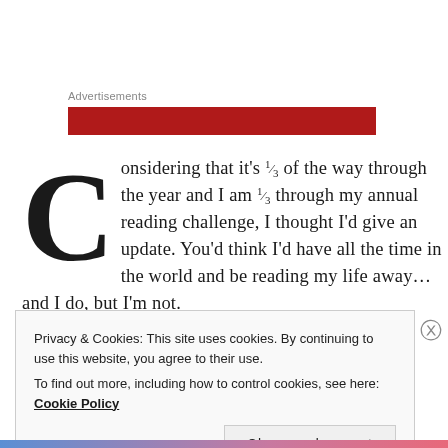Advertisements
[Figure (other): Red advertisement banner bar]
Considering that it's ⅓ of the way through the year and I am ⅓ through my annual reading challenge, I thought I'd give an update. You'd think I'd have all the time in the world and be reading my life away… and I do, but I'm not.
Privacy & Cookies: This site uses cookies. By continuing to use this website, you agree to their use. To find out more, including how to control cookies, see here: Cookie Policy
Close and accept